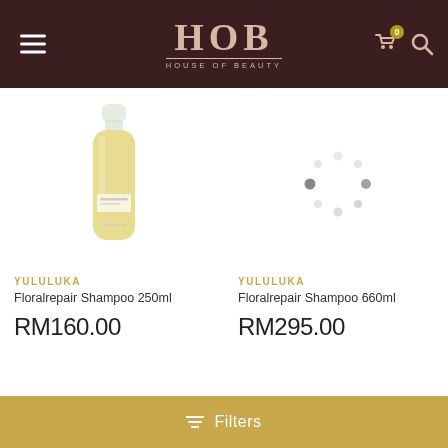[Figure (screenshot): HOB House of Beauty website header with dark brown background, hamburger menu icon on left, HOB logo in center, cart and search icons on right]
[Figure (photo): YULULUKA Floralrepair Shampoo 250ml bottle — small clear bottle with pale yellow liquid and white label]
[Figure (other): Loading spinner dots animation placeholder for second product image]
YULULUKA
Floralrepair Shampoo 250ml
RM160.00
YULULUKA
Floralrepair Shampoo 660ml
RM295.00
Filters